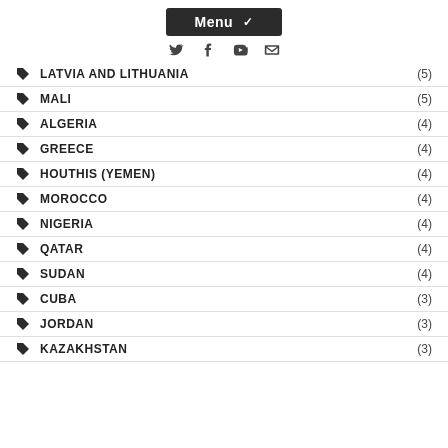Menu
LATVIA AND LITHUANIA (5)
MALI (5)
ALGERIA (4)
GREECE (4)
HOUTHIS (YEMEN) (4)
MOROCCO (4)
NIGERIA (4)
QATAR (4)
SUDAN (4)
CUBA (3)
JORDAN (3)
KAZAKHSTAN (3)